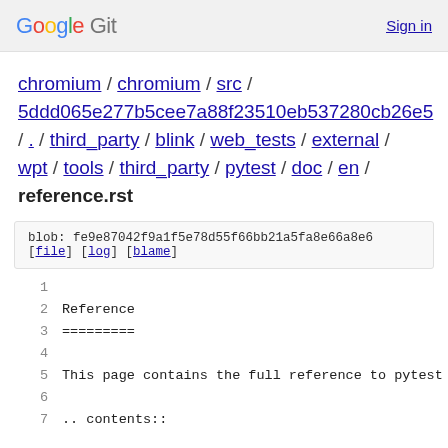Google Git  Sign in
chromium / chromium / src / 5ddd065e277b5cee7a88f23510eb537280cb26e5 / . / third_party / blink / web_tests / external / wpt / tools / third_party / pytest / doc / en / reference.rst
blob: fe9e87042f9a1f5e78d55f66bb21a5fa8e66a8e6
[file] [log] [blame]
1
2  Reference
3  =========
4
5  This page contains the full reference to pytest
6
7  .. contents::